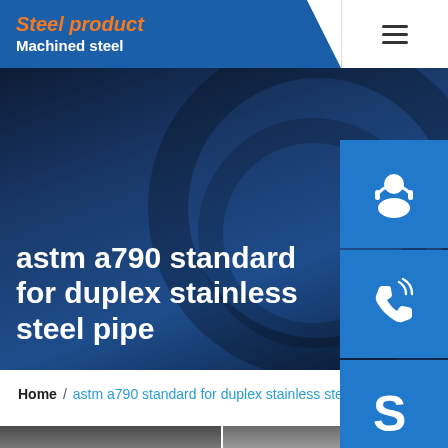Steel product / Machined steel
astm a790 standard for duplex stainless steel pipe
[Figure (screenshot): Three blue square icon buttons on the right side: customer service (headset icon), phone (phone with signal waves icon), Skype (S logo icon)]
Home / astm a790 standard for duplex stainless steel pipe
[Figure (photo): Bottom strip showing two partial photos of steel pipes/industrial equipment]